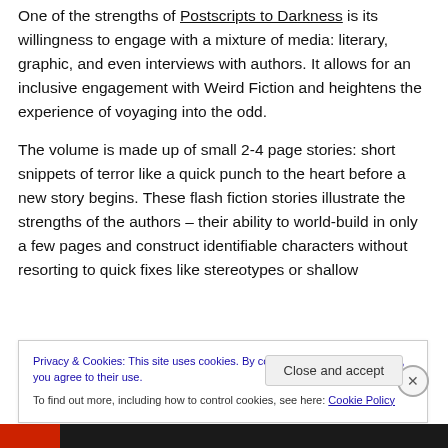One of the strengths of Postscripts to Darkness is its willingness to engage with a mixture of media: literary, graphic, and even interviews with authors. It allows for an inclusive engagement with Weird Fiction and heightens the experience of voyaging into the odd.
The volume is made up of small 2-4 page stories: short snippets of terror like a quick punch to the heart before a new story begins. These flash fiction stories illustrate the strengths of the authors – their ability to world-build in only a few pages and construct identifiable characters without resorting to quick fixes like stereotypes or shallow
Privacy & Cookies: This site uses cookies. By continuing to use this website, you agree to their use.
To find out more, including how to control cookies, see here: Cookie Policy